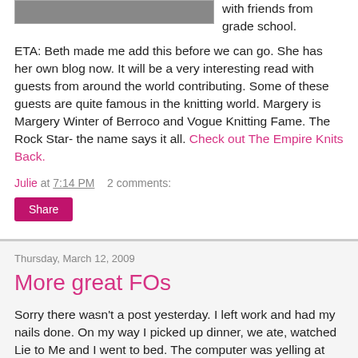[Figure (photo): Cropped photo visible at top of page]
with friends from grade school.
ETA: Beth made me add this before we can go. She has her own blog now. It will be a very interesting read with guests from around the world contributing. Some of these guests are quite famous in the knitting world. Margery is Margery Winter of Berroco and Vogue Knitting Fame. The Rock Star- the name says it all. Check out The Empire Knits Back.
Julie at 7:14 PM    2 comments:
Share
Thursday, March 12, 2009
More great FOs
Sorry there wasn't a post yesterday. I left work and had my nails done. On my way I picked up dinner, we ate, watched Lie to Me and I went to bed. The computer was yelling at me but I couldn't keep my eyes open.